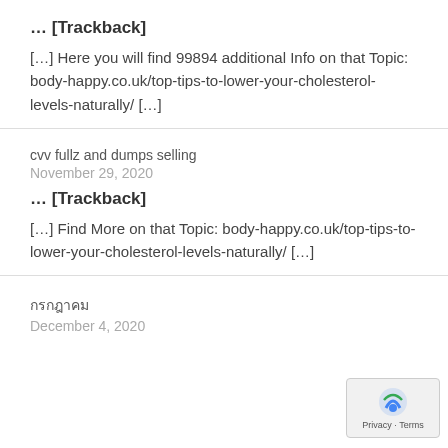… [Trackback]
[…] Here you will find 99894 additional Info on that Topic: body-happy.co.uk/top-tips-to-lower-your-cholesterol-levels-naturally/ […]
cvv fullz and dumps selling
November 29, 2020
… [Trackback]
[…] Find More on that Topic: body-happy.co.uk/top-tips-to-lower-your-cholesterol-levels-naturally/ […]
กรกฎาคม
December 4, 2020